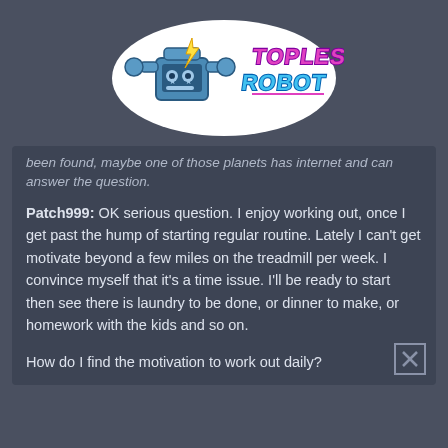[Figure (logo): Topless Robot logo — a cartoon robot holding a game controller with neon pink/blue retro text reading TOPLESS ROBOT]
been found, maybe one of those planets has internet and can answer the question.
Patch999: OK serious question. I enjoy working out, once I get past the hump of starting regular routine. Lately I can't get motivate beyond a few miles on the treadmill per week. I convince myself that it's a time issue. I'll be ready to start then see there is laundry to be done, or dinner to make, or homework with the kids and so on.

How do I find the motivation to work out daily?